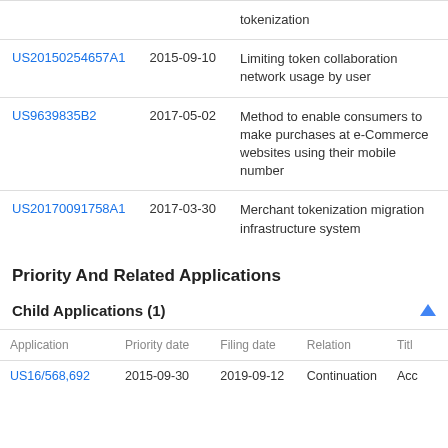| Patent | Date | Title |
| --- | --- | --- |
| US20150254657A1 | 2015-09-10 | Limiting token collaboration network usage by user |
| US9639835B2 | 2017-05-02 | Method to enable consumers to make purchases at e-Commerce websites using their mobile number |
| US20170091758A1 | 2017-03-30 | Merchant tokenization migration infrastructure system |
Priority And Related Applications
Child Applications (1)
| Application | Priority date | Filing date | Relation | Title |
| --- | --- | --- | --- | --- |
| US16/568,692 | 2015-09-30 | 2019-09-12 | Continuation | Acc... |